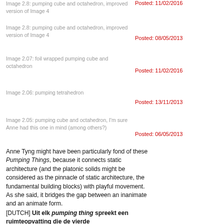Image 2.8: pumping cube and octahedron, improved version of Image 4
Posted: 08/05/2013
Image 2.07: foil wrapped pumping cube and octahedron
Posted: 11/02/2016
Image 2.06: pumping tetrahedron
Posted: 13/11/2013
Image 2.05: pumping cube and octahedron, I'm sure Anne had this one in mind (among others?)
Posted: 06/05/2013
Anne Tyng might have been particularly fond of these Pumping Things, because it connects static architecture (and the platonic solids might be considered as the pinnacle of static architecture, the fundamental building blocks) with playful movement. As she said, it bridges the gap between an inanimate and an animate form.
[DUTCH] Uit elk pumping thing spreekt een ruimteopvatting die de vierde